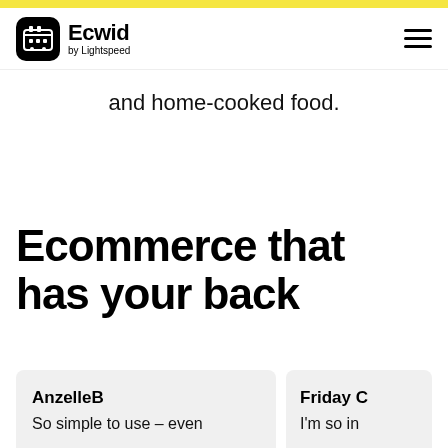Ecwid by Lightspeed
and home-cooked food.
Ecommerce that has your back
AnzelleB
So simple to use – even
Friday C
I'm so in